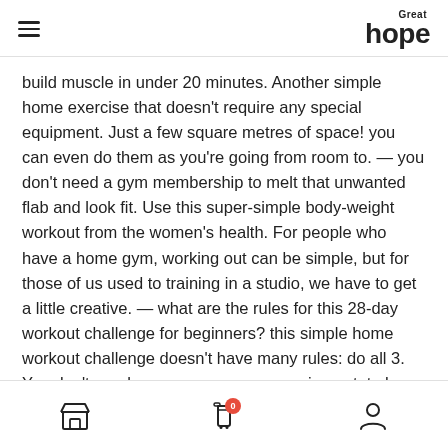Great hope
build muscle in under 20 minutes. Another simple home exercise that doesn't require any special equipment. Just a few square metres of space! you can even do them as you're going from room to. — you don't need a gym membership to melt that unwanted flab and look fit. Use this super-simple body-weight workout from the women's health. For people who have a home gym, working out can be simple, but for those of us used to training in a studio, we have to get a little creative. — what are the rules for this 28-day workout challenge for beginners? this simple home workout challenge doesn't have many rules: do all 3. You don't need a gym, or even any equipment, to have a great workout. While you might think that strength training requires heavy weights to get results,
store, cart, user icons